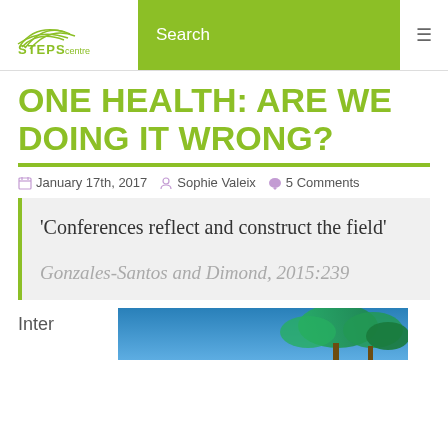STEPS centre | Search
ONE HEALTH: ARE WE DOING IT WRONG?
January 17th, 2017  Sophie Valeix  5 Comments
'Conferences reflect and construct the field'

Gonzales-Santos and Dimond, 2015:239
Inter